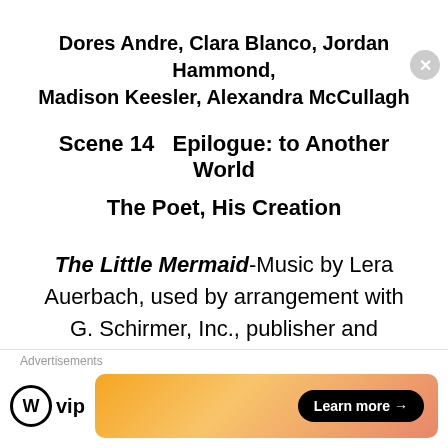Dores Andre, Clara Blanco, Jordan Hammond, Madison Keesler, Alexandra McCullagh
Scene 14   Epilogue: to Another World
The Poet, His Creation
The Little Mermaid-Music by Lera Auerbach, used by arrangement with G. Schirmer, Inc., publisher and copyright owner. Scenery and Costumes courtesy of Hamburg Ballett.
Advertisements